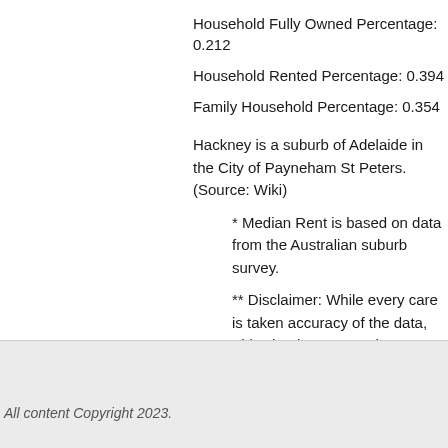Household Fully Owned Percentage: 0.212
Household Rented Percentage: 0.394
Family Household Percentage: 0.354
Hackney is a suburb of Adelaide in the City of Payneham St Peters. (Source: Wiki)
* Median Rent is based on data from the Australian suburb survey.
** Disclaimer: While every care is taken accuracy of the data, This site does not re the accuracy, reliability, completeness or content for any particular purpose. Please discover an error.
All content Copyright 2023.